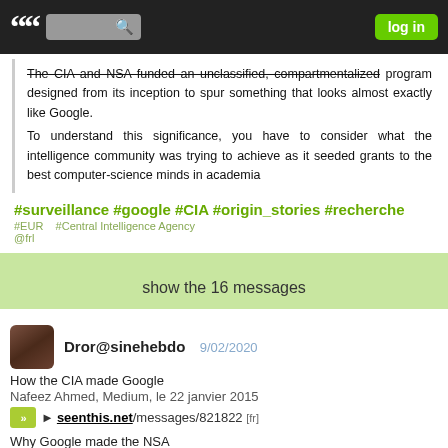log in
The CIA and NSA funded an unclassified, compartmentalized program designed from its inception to spur something that looks almost exactly like Google.
To understand this significance, you have to consider what the intelligence community was trying to achieve as it seeded grants to the best computer-science minds in academia
#surveillance #google #CIA #origin_stories #recherche
#EUR   #Central Intelligence Agency
@frl
show the 16 messages
Dror@sinehebdo   9/02/2020
How the CIA made Google
Nafeez Ahmed, Medium, le 22 janvier 2015
► seenthis.net/messages/821822 [fr]
Why Google made the NSA
Nafeez Ahmed, Medium, le 22 janvier 2015
► seenthis.net/messages/821822 [fr]
#NSA